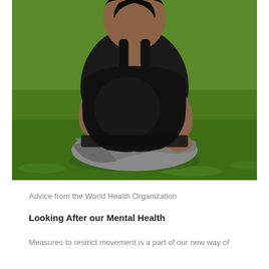[Figure (photo): A pregnant woman wearing a black tank top and grey leggings sits cross-legged on green grass outdoors.]
Advice from the World Health Organization
Looking After our Mental Health
Measures to restrict movement is a part of our new way of